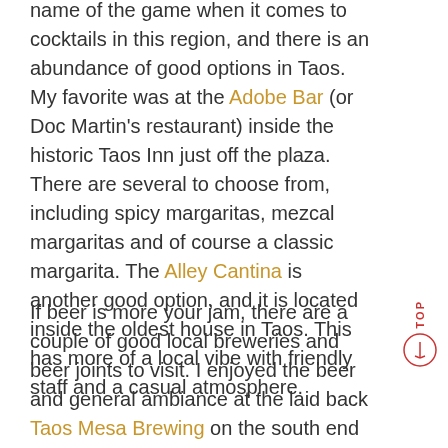name of the game when it comes to cocktails in this region, and there is an abundance of good options in Taos. My favorite was at the Adobe Bar (or Doc Martin's restaurant) inside the historic Taos Inn just off the plaza. There are several to choose from, including spicy margaritas, mezcal margaritas and of course a classic margarita. The Alley Cantina is another good option, and it is located inside the oldest house in Taos. This has more of a local vibe with friendly staff and a casual atmosphere.
If beer is more your jam, there are a couple of good local breweries and beer joints to visit. I enjoyed the beer and general ambiance at the laid back Taos Mesa Brewing on the south end of town. The staff is knowledge and inclusive of all types of beer drinks. With over 20 taps to choose from, you can get recommendations on what you